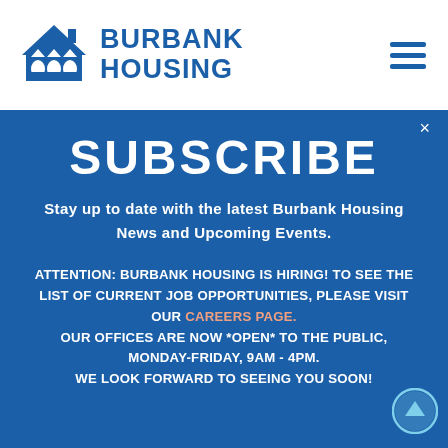[Figure (logo): Burbank Housing logo — blue house/building icon with three arches, beside bold text BURBANK HOUSING in blue]
SUBSCRIBE
Stay up to date with the latest Burbank Housing News and Upcoming Events.
ATTENTION: BURBANK HOUSING IS HIRING! TO SEE THE LIST OF CURRENT JOB OPPORTUNITIES, PLEASE VISIT OUR CAREERS PAGE.
OUR OFFICES ARE NOW *OPEN* TO THE PUBLIC, MONDAY-FRIDAY, 9AM - 4PM.
WE LOOK FORWARD TO SEEING YOU SOON!